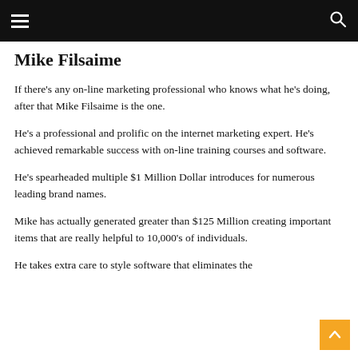≡   🔍
Mike Filsaime
If there's any on-line marketing professional who knows what he's doing, after that Mike Filsaime is the one.
He's a professional and prolific on the internet marketing expert. He's achieved remarkable success with on-line training courses and software.
He's spearheaded multiple $1 Million Dollar introduces for numerous leading brand names.
Mike has actually generated greater than $125 Million creating important items that are really helpful to 10,000's of individuals.
He takes extra care to style software that eliminates the